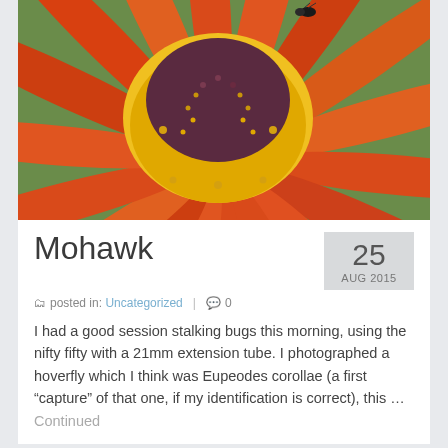[Figure (photo): Close-up macro photograph of an orange and red daisy-like flower with a yellow and purple center, with a small bee/insect visible at the top]
Mohawk
25 AUG 2015
posted in: Uncategorized | 0
I had a good session stalking bugs this morning, using the nifty fifty with a 21mm extension tube. I photographed a hoverfly which I think was Eupeodes corollae (a first “capture” of that one, if my identification is correct), this … Continued